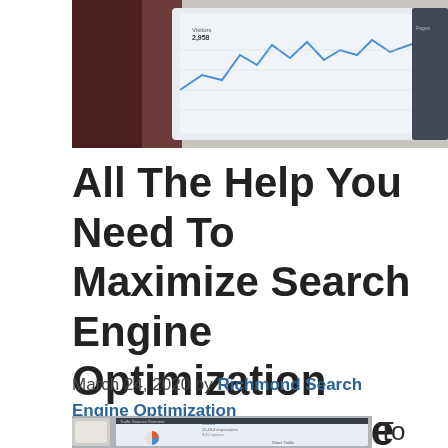[Figure (photo): Close-up photo of a tablet/screen showing analytics charts with line graphs, partially obscured by a hand in the upper left. Dark reddish background on the left side.]
All The Help You Need To Maximize Search Engine Optimization Success Is Here
March 24, 2020 by Richmond Search Engine Optimization
[Figure (photo): Photo of a tablet showing SEO analytics dashboard with numbers like 25,43.3 impressions, 3.32 injector, and charts. A smartphone is visible on the left. Text 'To say things' is visible on the right side.]